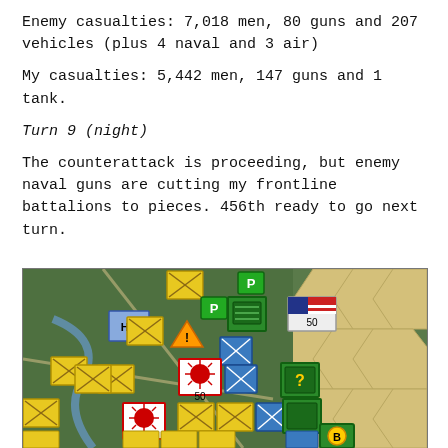Enemy casualties: 7,018 men, 80 guns and 207 vehicles (plus 4 naval and 3 air)
My casualties: 5,442 men, 147 guns and 1 tank.
Turn 9 (night)
The counterattack is proceeding, but enemy naval guns are cutting my frontline battalions to pieces. 456th ready to go next turn.
[Figure (screenshot): Wargame tactical map screenshot showing hex-based battlefield with yellow and blue unit counters, green terrain, Japanese rising sun markers labeled '50', a US flag unit labeled '50', HQ unit, P markers, warning triangle, and question mark unit on sandy/desert hexes to the right.]